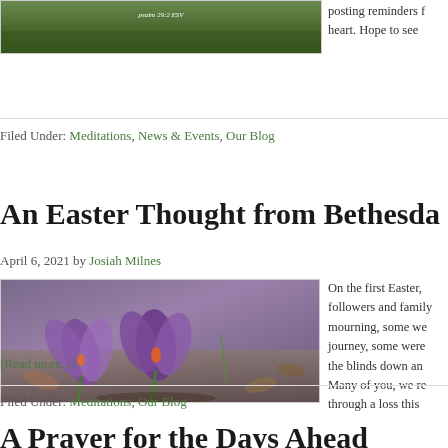[Figure (photo): Landscape/nature photo with green path, psalm text overlay reading 'Psalm 29:2 ESV']
posting reminders f… heart. Hope to see
Filed Under: Meditations, News & Events, Our Blog
An Easter Thought from Bethesda
April 6, 2021 by Josiah Milnes
[Figure (photo): Purple crocus flowers blooming among rocks and dry leaves]
On the first Easter, followers and family mourning, some we journey, some were the blinds down an Many of you, we re through a loss this
[Read more...]
Filed Under: Meditations, Our Blog
A Prayer for the Days Ahead